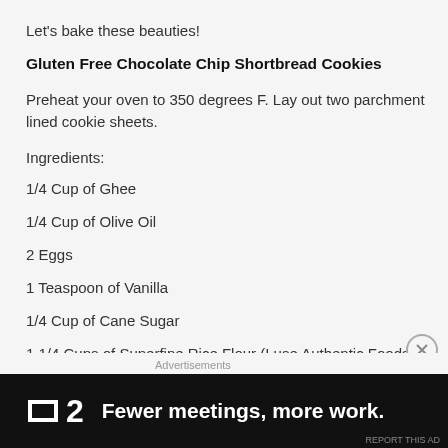Let's bake these beauties!
Gluten Free Chocolate Chip Shortbread Cookies
Preheat your oven to 350 degrees F. Lay out two parchment lined cookie sheets.
Ingredients:
1/4 Cup of Ghee
1/4 Cup of Olive Oil
2 Eggs
1 Teaspoon of Vanilla
1/4 Cup of Cane Sugar
1 1/4 Cups of Superfine Rice Flour (I use Authentic Foods brand,
Advertisements
[Figure (other): Advertisement banner: dark background with logo '2' and text 'Fewer meetings, more work.']